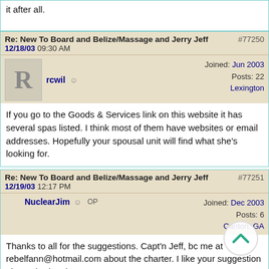it after all.
Re: New To Board and Belize/Massage and Jerry Jeff #77250 12/18/03 09:30 AM
rcwil ☺ Joined: Jun 2003 Posts: 22 Lexington
If you go to the Goods & Services link on this website it has several spas listed. I think most of them have websites or email addresses. Hopefully your spousal unit will find what she's looking for.
Re: New To Board and Belize/Massage and Jerry Jeff #77251 12/19/03 12:17 PM
NuclearJim ☺ OP Joined: Dec 2003 Posts: 6 Canton, GA
Thanks to all for the suggestions. Capt'n Jeff, bc me at rebelfann@hotmail.com about the charter. I like your suggestion about sharing the cost.